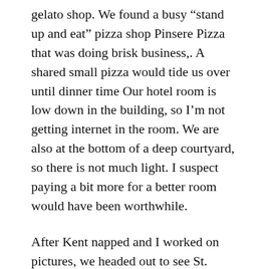gelato shop. We found a busy “stand up and eat” pizza shop Pinsere Pizza that was doing brisk business,. A shared small pizza would tide us over until dinner time Our hotel room is low down in the building, so I’m not getting internet in the room. We are also at the bottom of a deep courtyard, so there is not much light. I suspect paying a bit more for a better room would have been worthwhile.
After Kent napped and I worked on pictures, we headed out to see St. Mary Major Church. By then sunshine had turned to rain, and we found the church not only closed, but barricaded and guarded by soldiers. Open at 7 am they told us.